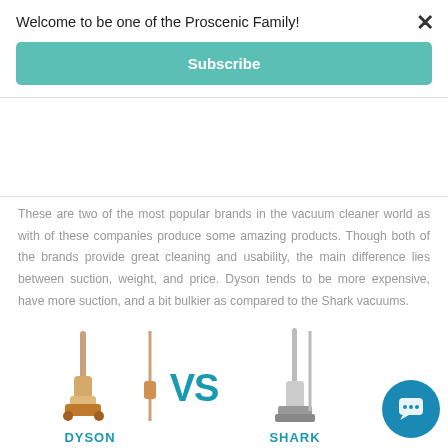Welcome to be one of the Proscenic Family!
Subscribe
These are two of the most popular brands in the vacuum cleaner world as with of these companies produce some amazing products. Though both of the brands provide great cleaning and usability, the main difference lies between suction, weight, and price. Dyson tends to be more expensive, have more suction, and a bit bulkier as compared to the Shark vacuums.
[Figure (illustration): Dyson vs Shark vacuum cleaner brand comparison image showing a Dyson stick vacuum on the left, 'VS' in the center, and a Shark vacuum on the right with brand logos at the bottom.]